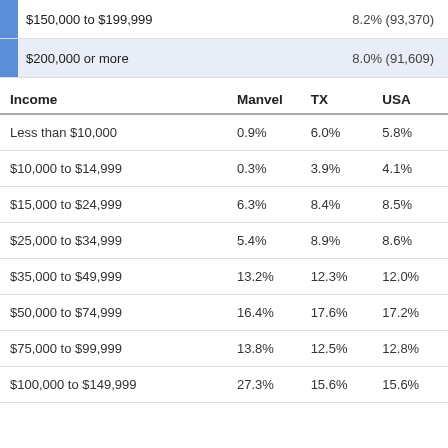|  |  |
| --- | --- |
| $150,000 to $199,999 | 8.2% (93,370) |
| $200,000 or more | 8.0% (91,609) |
| Income | Manvel | TX | USA |
| --- | --- | --- | --- |
| Less than $10,000 | 0.9% | 6.0% | 5.8% |
| $10,000 to $14,999 | 0.3% | 3.9% | 4.1% |
| $15,000 to $24,999 | 6.3% | 8.4% | 8.5% |
| $25,000 to $34,999 | 5.4% | 8.9% | 8.6% |
| $35,000 to $49,999 | 13.2% | 12.3% | 12.0% |
| $50,000 to $74,999 | 16.4% | 17.6% | 17.2% |
| $75,000 to $99,999 | 13.8% | 12.5% | 12.8% |
| $100,000 to $149,999 | 27.3% | 15.6% | 15.6% |